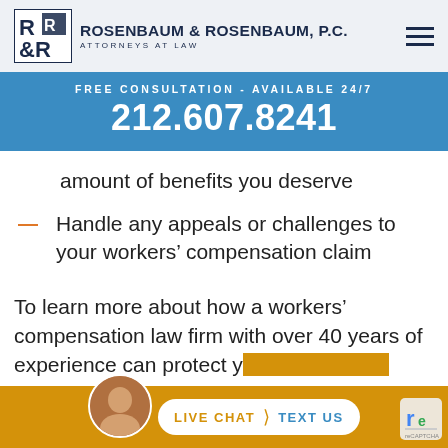[Figure (logo): Rosenbaum & Rosenbaum P.C. logo with R&R letters in a square box]
ROSENBAUM & ROSENBAUM, P.C. ATTORNEYS AT LAW
FREE CONSULTATION - AVAILABLE 24/7
212.607.8241
amount of benefits you deserve
Handle any appeals or challenges to your workers' compensation claim
To learn more about how a workers' compensation law firm with over 40 years of experience can protect your rights and...